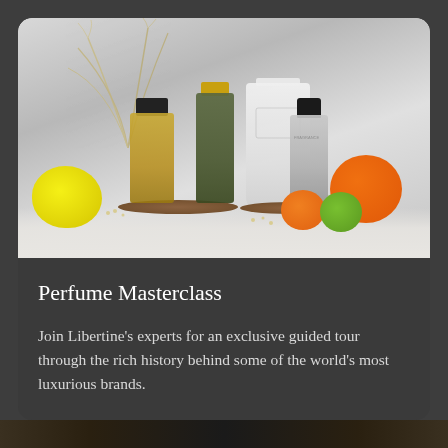[Figure (photo): A styled product photo showing four luxury perfume bottles of varying shapes and sizes arranged on wooden trays, surrounded by fruits including a lemon, orange, mandarin, and lime, set against a light grey background with pampas grass decoration.]
Perfume Masterclass
Join Libertine's experts for an exclusive guided tour through the rich history behind some of the world's most luxurious brands.